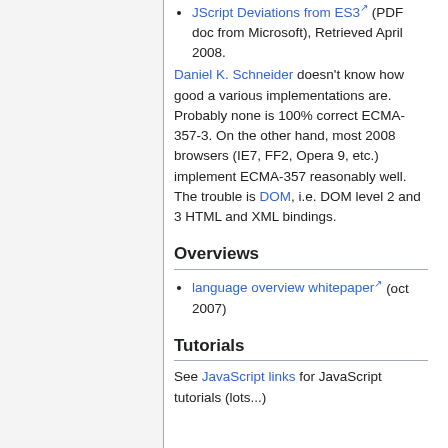JScript Deviations from ES3 (PDF doc from Microsoft), Retrieved April 2008.
Daniel K. Schneider doesn't know how good a various implementations are. Probably none is 100% correct ECMA-357-3. On the other hand, most 2008 browsers (IE7, FF2, Opera 9, etc.) implement ECMA-357 reasonably well. The trouble is DOM, i.e. DOM level 2 and 3 HTML and XML bindings.
Overviews
language overview whitepaper (oct 2007)
Tutorials
See JavaScript links for JavaScript tutorials (lots...)